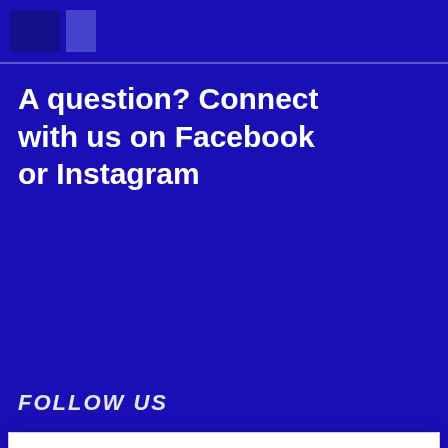A question? Connect with us on Facebook or Instagram
FOLLOW US
We use cookies to personalize content and ads, to provide social media features and to analyze our traffic. See our cookie policy. You can use cookie settings to change your preferences. Click "Accept cookies" to enable all cookies, or "Reject cookies" if you do not want them.
Cookie Settings
Reject Cookies